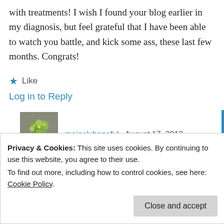with treatments! I wish I found your blog earlier in my diagnosis, but feel grateful that I have been able to watch you battle, and kick some ass, these last few months. Congrats!
★ Like
Log in to Reply
[Figure (photo): Avatar thumbnail showing a green floral arrangement on a gray background]
mainelyhopeful · August 17, 2012
Privacy & Cookies: This site uses cookies. By continuing to use this website, you agree to their use.
To find out more, including how to control cookies, see here: Cookie Policy